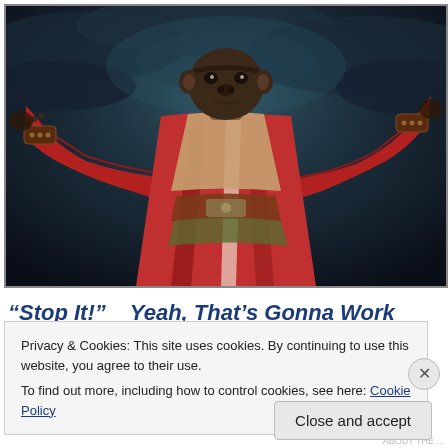[Figure (photo): An ape/primate figure wearing red and brown robes with arms outstretched against a dramatic stormy sky background, styled to resemble a religious or cinematic figure.]
“Stop It!”    Yeah, That’s Gonna Work
Privacy & Cookies: This site uses cookies. By continuing to use this website, you agree to their use.
To find out more, including how to control cookies, see here: Cookie Policy
Close and accept